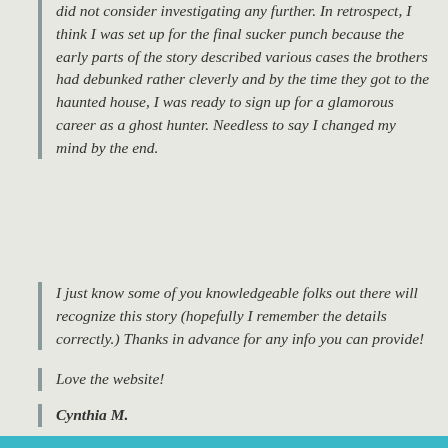did not consider investigating any further. In retrospect, I think I was set up for the final sucker punch because the early parts of the story described various cases the brothers had debunked rather cleverly and by the time they got to the haunted house, I was ready to sign up for a glamorous career as a ghost hunter. Needless to say I changed my mind by the end.
I just know some of you knowledgeable folks out there will recognize this story (hopefully I remember the details correctly.) Thanks in advance for any info you can provide!
Love the website!
Cynthia M.